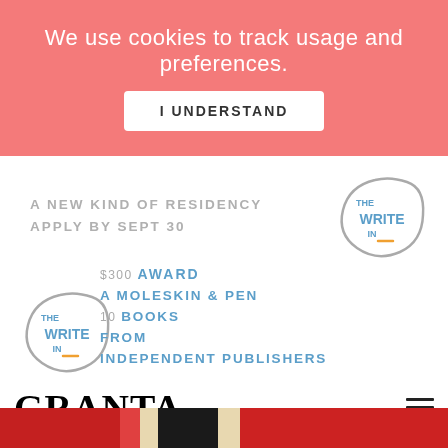We use cookies to track usage and preferences.
I UNDERSTAND
[Figure (logo): The Write In circular logo (top right) — stylized text THE / WRITE / IN inside a hand-drawn circle, with an orange underscore accent]
A NEW KIND OF RESIDENCY
APPLY BY SEPT 30
[Figure (logo): The Write In circular logo (bottom left) — same stylized mark]
$300 AWARD
A MOLESKIN & PEN
10 BOOKS
FROM
INDEPENDENT PUBLISHERS
GRANTA
[Figure (photo): Red/dark book spines at the bottom of the page]